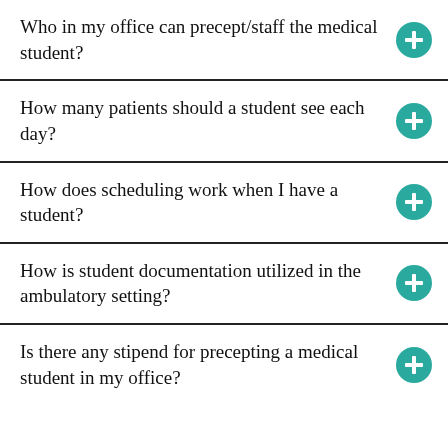Who in my office can precept/staff the medical student?
How many patients should a student see each day?
How does scheduling work when I have a student?
How is student documentation utilized in the ambulatory setting?
Is there any stipend for precepting a medical student in my office?